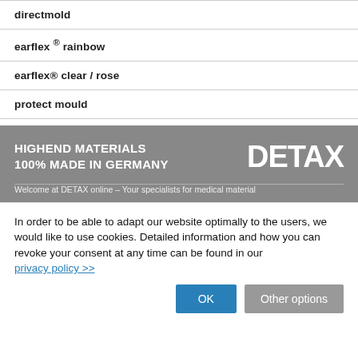directmold
earflex ® rainbow
earflex® clear / rose
protect mould
[Figure (logo): DETAX logo with tagline: HIGHEND MATERIALS 100% MADE IN GERMANY]
Welcome at DETAX online – Your specialists for medical material
In order to be able to adapt our website optimally to the users, we would like to use cookies. Detailed information and how you can revoke your consent at any time can be found in our privacy policy >>
OK | Other options